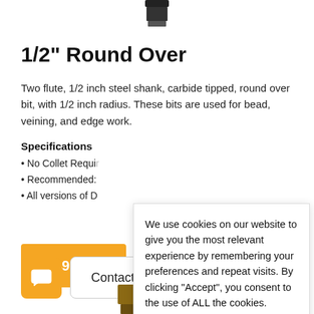[Figure (photo): Top portion of a router bit product, dark cylindrical shank visible at top center of page]
1/2" Round Over
Two flute, 1/2 inch steel shank, carbide tipped, round over bit, with 1/2 inch radius. These bits are used for bead, veining, and edge work.
Specifications
No Collet Requi[red]
Recommended: [...]
All versions of D[...]
$49.49 -
We use cookies on our website to give you the most relevant experience by remembering your preferences and repeat visits. By clicking “Accept”, you consent to the use of ALL the cookies.
Do not sell my personal information.
Cookie settings
ACCEPT
Contact
[Figure (photo): Bottom portion of a router bit product visible at bottom center]